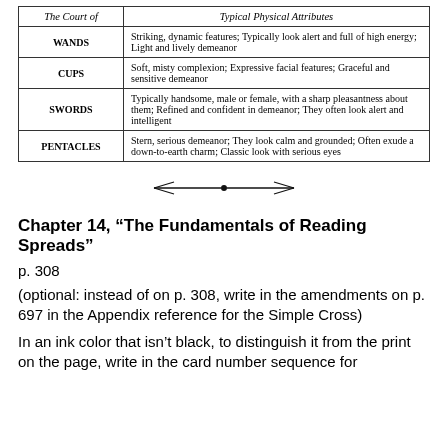| The Court of | Typical Physical Attributes |
| --- | --- |
| WANDS | Striking, dynamic features; Typically look alert and full of high energy; Light and lively demeanor |
| CUPS | Soft, misty complexion; Expressive facial features; Graceful and sensitive demeanor |
| SWORDS | Typically handsome, male or female, with a sharp pleasantness about them; Refined and confident in demeanor; They often look alert and intelligent |
| PENTACLES | Stern, serious demeanor; They look calm and grounded; Often exude a down-to-earth charm; Classic look with serious eyes |
[Figure (illustration): Decorative horizontal divider with a central dot and symmetrical wing-like lines]
Chapter 14, “The Fundamentals of Reading Spreads”
p. 308
(optional: instead of on p. 308, write in the amendments on p. 697 in the Appendix reference for the Simple Cross)
In an ink color that isn’t black, to distinguish it from the print on the page, write in the card number sequence for